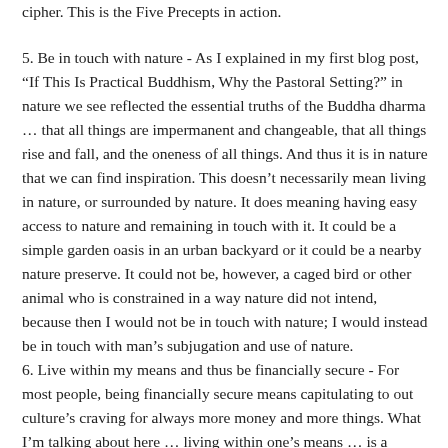cipher.  This is the Five Precepts in action.
5.  Be in touch with nature - As I explained in my first blog post, “If This Is Practical Buddhism, Why the Pastoral Setting?” in nature we see reflected the essential truths of the Buddha dharma … that all things are impermanent and changeable, that all things rise and fall, and the oneness of all things.  And thus it is in nature that we can find inspiration.  This doesn’t necessarily mean living in nature, or surrounded by nature.  It does meaning having easy access to nature and remaining in touch with it.  It could be a simple garden oasis in an urban backyard or it could be a nearby nature preserve.  It could not be, however, a caged bird or other animal who is constrained in a way nature did not intend, because then I would not be in touch with nature; I would instead be in touch with man’s subjugation and use of nature.
6.  Live within my means and thus be financially secure - For most people, being financially secure means capitulating to out culture’s craving for always more money and more things.  What I’m talking about here … living within one’s means … is a decidedly counter-